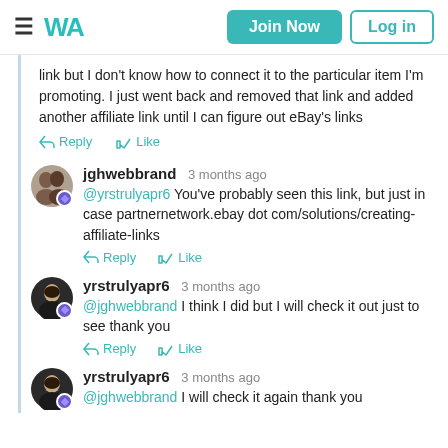≡ WA | Join Now | Log in
link but I don't know how to connect it to the particular item I'm promoting. I just went back and removed that link and added another affiliate link until I can figure out eBay's links
Reply  Like
jghwebbrand  3 months ago
@yrstrulyapr6 You've probably seen this link, but just in case partnernetwork.ebay dot com/solutions/creating-affiliate-links
Reply  Like
yrstrulyapr6  3 months ago
@jghwebbrand I think I did but I will check it out just to see thank you
Reply  Like
yrstrulyapr6  3 months ago
@jghwebbrand I will check it again thank you